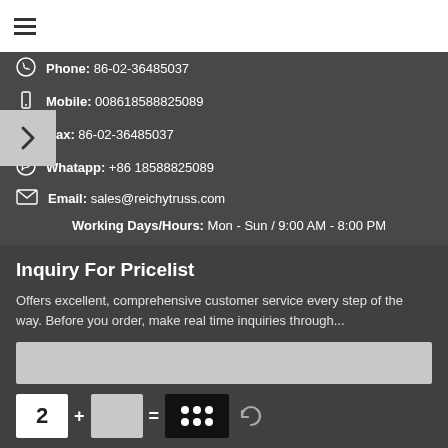≡ (hamburger menu)
Phone: 86-02-36485037
Mobile: 008618588825089
Fax: 86-02-36485037
Whatapp: +86 18588825089
Email: sales@reichytruss.com
Working Days/Hours: Mon - Sun / 9:00 AM - 8:00 PM
Inquiry For Pricelist
Offers excellent, comprehensive customer service every step of the way. Before you order, make real time inquiries through...